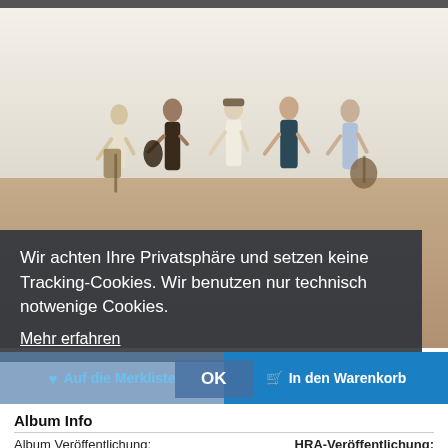[Figure (photo): A band of five people standing on a beach at sunset/dusk, some holding guitars, with sea and sky in the background.]
Wir achten Ihre Privatsphäre und setzen keine Tracking-Cookies. Wir benutzen nur technisch notwenige Cookies.
Mehr erfahren
Auf die Merkliste
In den Warenkorb
OK
Album Info
Album Veröffentlichung:
HRA-Veröffentlichung: